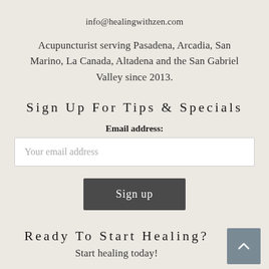info@healingwithzen.com
Acupuncturist serving Pasadena, Arcadia, San Marino, La Canada, Altadena and the San Gabriel Valley since 2013.
Sign Up For Tips & Specials
Email address:
Your email address
Sign up
Ready To Start Healing?
Start healing today!